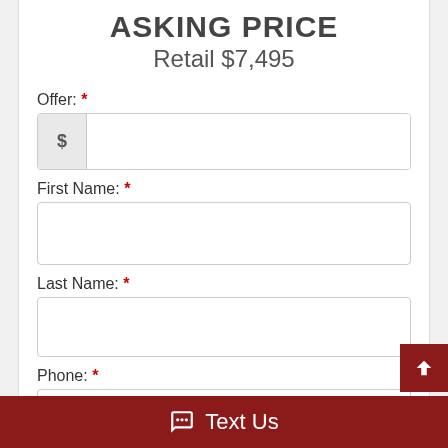ASKING PRICE
Retail $7,495
Offer: *
First Name: *
Last Name: *
Phone: *
###-###-####
Email: *
example@example.com
Text Us